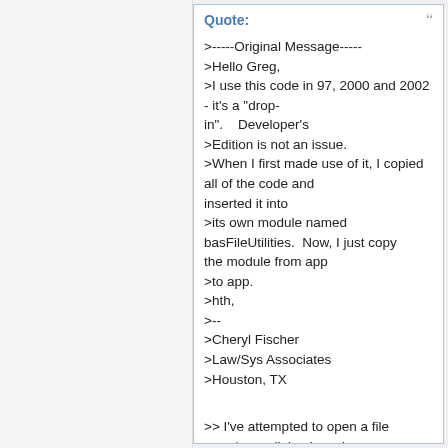Quote:
>-----Original Message-----
>Hello Greg,
>I use this code in 97, 2000 and 2002 - it's a "drop-in".    Developer's
>Edition is not an issue.
>When I first made use of it, I copied all of the code and inserted it into
>its own module named basFileUtilities.  Now, I just copy the module from app
>to app.
>hth,
>--
>Cheryl Fischer
>Law/Sys Associates
>Houston, TX


>> I've attempted to open a file open/save dialog box via
>> code in Access 2000, and some of you pointed me to Ken
>> Getz's code using